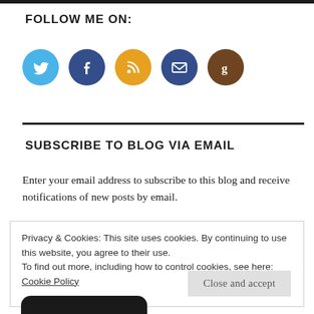FOLLOW ME ON:
[Figure (illustration): Five social media icons in circles: Twitter (blue bird), Facebook (dark blue f), RSS (orange feed icon), Email (dark blue envelope), Goodreads (brown g)]
SUBSCRIBE TO BLOG VIA EMAIL
Enter your email address to subscribe to this blog and receive notifications of new posts by email.
Privacy & Cookies: This site uses cookies. By continuing to use this website, you agree to their use.
To find out more, including how to control cookies, see here:
Cookie Policy
Close and accept